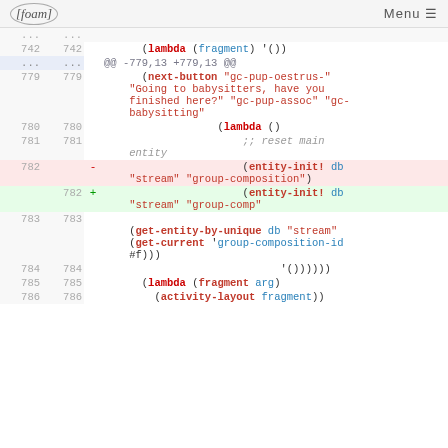[foam] Menu
Code diff showing lines 742-786 of a Lisp/Clojure source file. Line 782 is deleted (entity-init! db "stream" "group-composition") and replaced with (entity-init! db "stream" "group-comp").